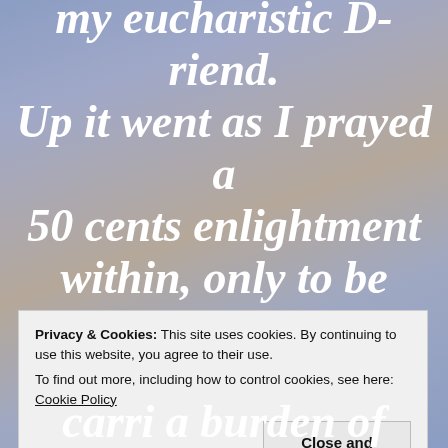my eucharistic D-riend. Up it went as I prayed a 50 cents enlightment within, only to be mildly amused by my swallow's intensity. Down the raw manhole and scratchy
Privacy & Cookies: This site uses cookies. By continuing to use this website, you agree to their use.
To find out more, including how to control cookies, see here: Cookie Policy
Close and accept
carri a burden of